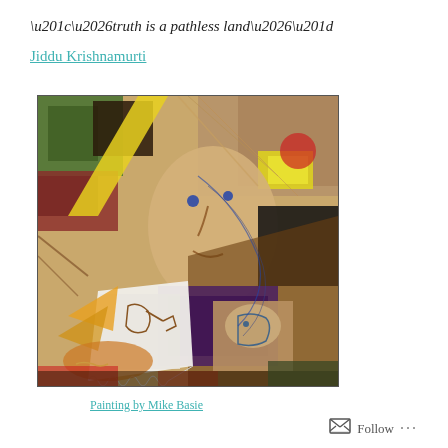“…truth is a pathless land…”
Jiddu Krishnamurti
[Figure (illustration): Abstract mixed-media painting featuring fragmented human faces and geometric shapes in earth tones, reds, greens, yellows, and black. Two facial profiles are visible among collaged elements.]
Painting by Mike Basie
Follow